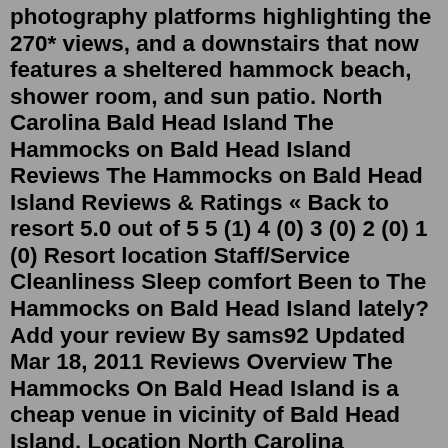photography platforms highlighting the 270* views, and a downstairs that now features a sheltered hammock beach, shower room, and sun patio. North Carolina Bald Head Island The Hammocks on Bald Head Island Reviews The Hammocks on Bald Head Island Reviews & Ratings « Back to resort 5.0 out of 5 5 (1) 4 (0) 3 (0) 2 (0) 1 (0) Resort location Staff/Service Cleanliness Sleep comfort Been to The Hammocks on Bald Head Island lately? Add your review By sams92 Updated Mar 18, 2011 Reviews Overview The Hammocks On Bald Head Island is a cheap venue in vicinity of Bald Head Island. Location North Carolina Maritime Museum at Southport is 4 miles from this property, while Southport Pier and RIverwalk is 4 miles away. This accommodation is located 0.4 miles from the center of Bald Head Island. Jun 21, 2016 · I was looking through destinations in the Mid-Atlantic and came across The Hammocks. There are only two reviews available so I was hoping anyone familiar with the resort or the area could share their experience and whether November or December